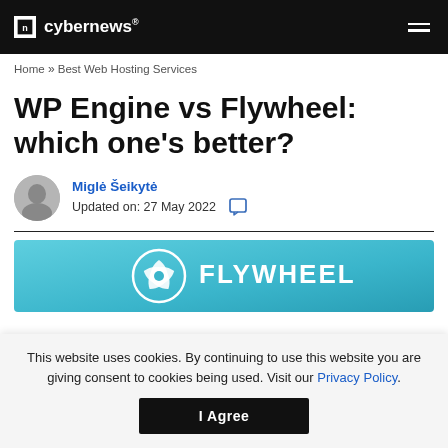cybernews®
Home » Best Web Hosting Services
WP Engine vs Flywheel: which one's better?
Miglė Šeikytė
Updated on: 27 May 2022
[Figure (logo): Flywheel logo on teal/cyan background with circular fan icon and the word FLYWHEEL in white bold letters]
This website uses cookies. By continuing to use this website you are giving consent to cookies being used. Visit our Privacy Policy.